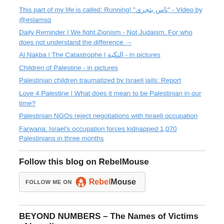This part of my life is called: Running! "ناس بتجري" - Video by @eslamsq
Daily Reminder | We fight Zionism - Not Judaism. For who does not understand the difference →
Al Nakba | The Catastrophe | النكبة - in pictures
Children of Palestine - in pictures
Palestinian children traumatized by Israeli jails: Report
Love 4 Palestine | What does it mean to be Palestinian in our time?
Palestinian NGOs reject negotiations with Israeli occupation
Farwana: Israel's occupation forces kidnapped 1,070 Palestinians in three months
Follow this blog on RebelMouse
[Figure (other): RebelMouse follow button with logo]
BEYOND NUMBERS – The Names of Victims of Israeli